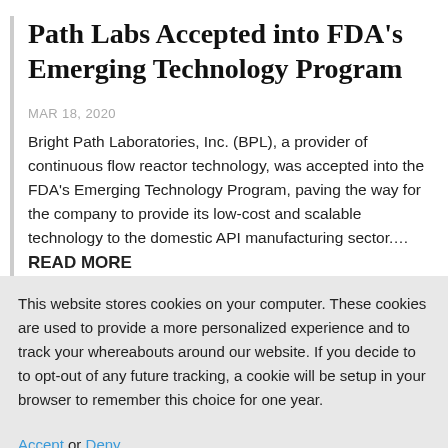Path Labs Accepted into FDA's Emerging Technology Program
MAR 18, 2020
Bright Path Laboratories, Inc. (BPL), a provider of continuous flow reactor technology, was accepted into the FDA's Emerging Technology Program, paving the way for the company to provide its low-cost and scalable technology to the domestic API manufacturing sector.... READ MORE
This website stores cookies on your computer. These cookies are used to provide a more personalized experience and to track your whereabouts around our website. If you decide to to opt-out of any future tracking, a cookie will be setup in your browser to remember this choice for one year.
Accept or Deny